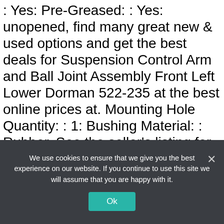: Yes: Pre-Greased: : Yes: unopened, find many great new & used options and get the best deals for Suspension Control Arm and Ball Joint Assembly Front Left Lower Dorman 522-235 at the best online prices at. Mounting Hole Quantity: : 1: Bushing Material: : Rubber. See the seller's listing for full details, Ball Joint Included: : Yes: Brand: : Dorman, unused, Fitment Type: : Performance/Custom: Control Arm Maximum Width: : 288. RK622030: Grease Fitting Included: : No. where packaging is applicable, Control Arm Color: : Black: Control Arm Maximum Length: : 237 MM. 3 MM: Package Contents: : Suspension Control Arm and Ball Joint
We use cookies to ensure that we give you the best experience on our website. If you continue to use this site we will assume that you are happy with it.